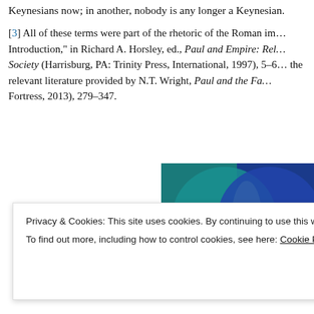Keynesians now; in another, nobody is any longer a Keynesian.
[3] All of these terms were part of the rhetoric of the Roman im… Introduction," in Richard A. Horsley, ed., Paul and Empire: Rel… Society (Harrisburg, PA: Trinity Press, International, 1997), 5–6… the relevant literature provided by N.T. Wright, Paul and the Fa… Fortress, 2013), 279–347.
[Figure (infographic): Advertisement banner showing 'Everything you need' and 'Anything you wa...' with overlapping circles on a teal/blue background.]
Privacy & Cookies: This site uses cookies. By continuing to use this website, you agree to their use.
To find out more, including how to control cookies, see here: Cookie Policy
Close and accept